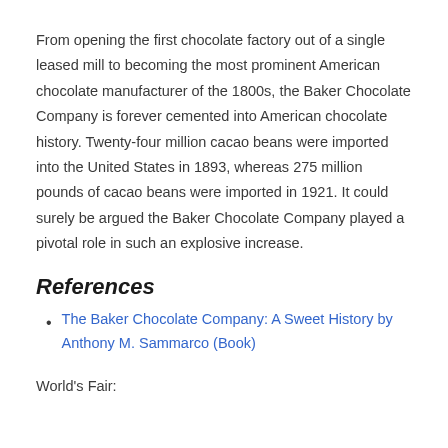From opening the first chocolate factory out of a single leased mill to becoming the most prominent American chocolate manufacturer of the 1800s, the Baker Chocolate Company is forever cemented into American chocolate history. Twenty-four million cacao beans were imported into the United States in 1893, whereas 275 million pounds of cacao beans were imported in 1921. It could surely be argued the Baker Chocolate Company played a pivotal role in such an explosive increase.
References
The Baker Chocolate Company: A Sweet History by Anthony M. Sammarco (Book)
World's Fair: